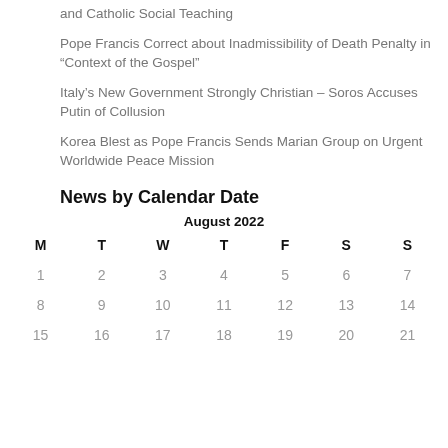and Catholic Social Teaching
Pope Francis Correct about Inadmissibility of Death Penalty in “Context of the Gospel”
Italy’s New Government Strongly Christian – Soros Accuses Putin of Collusion
Korea Blest as Pope Francis Sends Marian Group on Urgent Worldwide Peace Mission
News by Calendar Date
| M | T | W | T | F | S | S |
| --- | --- | --- | --- | --- | --- | --- |
| 1 | 2 | 3 | 4 | 5 | 6 | 7 |
| 8 | 9 | 10 | 11 | 12 | 13 | 14 |
| 15 | 16 | 17 | 18 | 19 | 20 | 21 |